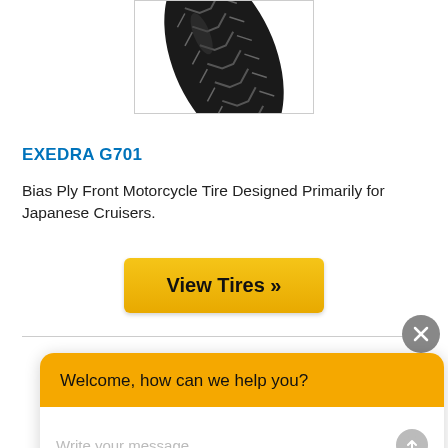[Figure (photo): Black motorcycle tire (Exedra G701) shown at an angle, displaying tread pattern with V-shaped grooves, inside a white bordered box]
EXEDRA G701
Bias Ply Front Motorcycle Tire Designed Primarily for Japanese Cruisers.
[Figure (other): Yellow 'View Tires »' button]
[Figure (other): Chat widget with orange header saying 'Welcome, how can we help you?' and a text input area saying 'Write your message...' with a send button. A gray X close button appears above the widget.]